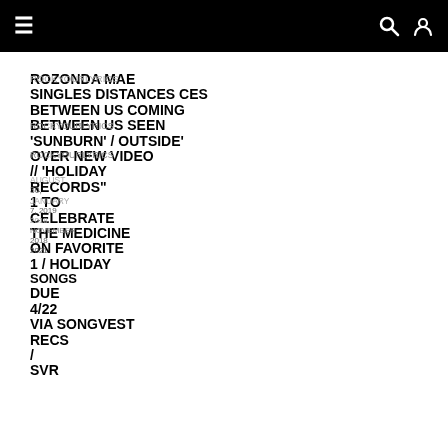≡  🔍 👤
ROZONDA MAE SINGLES 'DISTANCES BETWEEN US COMING BETWEEN US' / HAVE SEEN 'SUNBURN' / OUTSIDE' OVER NEW VIDEO // 'HOLIDAY RECORDS" 1 TO CELEBRATE THE MEDICINE ON FAVORITE 1 / HOLIDAY SONGS DUE 4/22 VIA SONGVEST RECS / SVR
ROCKYOURLYRICS AUGUST 30, 2021 ROCKYOURLYRICS JANUARY 7, 2019 ROCKYOURLYRICS NOVEMBER 2018 2021